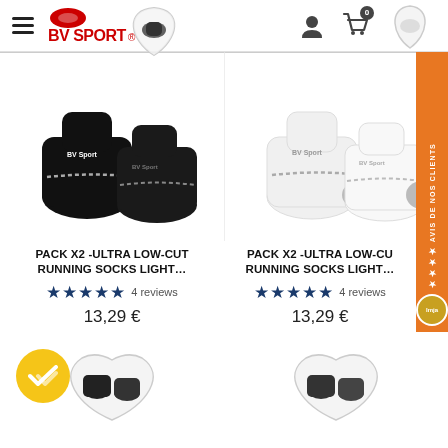BV SPORT navigation header with hamburger menu, logo, user icon, and cart
[Figure (photo): Black BV Sport ultra low-cut running socks pair, pack x2]
PACK X2 -ULTRA LOW-CUT RUNNING SOCKS LIGHT...
★★★★★ 4 reviews
13,29 €
[Figure (photo): White BV Sport ultra low-cut running socks pair, pack x2]
PACK X2 -ULTRA LOW-CU RUNNING SOCKS LIGHT...
★★★★★ 4 reviews
13,29 €
[Figure (photo): Bottom partial product images with yellow checkmark badge and sock pack images]
[Figure (infographic): Orange vertical side badge reading AVIS DE NOS CLIENTS with stars]